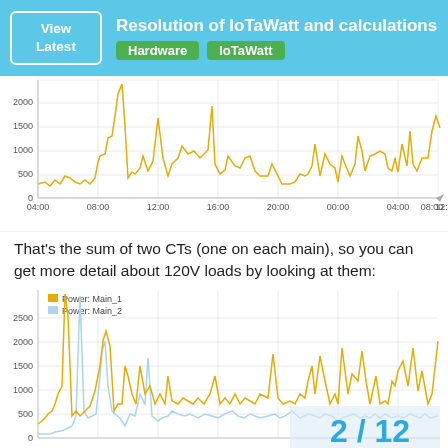Resolution of IoTaWatt and calculations
[Figure (continuous-plot): Line chart showing power consumption over time (approximately 04:00 to 12:00 next day). Y-axis from 0 to ~2500, with a yellow/gold line showing spikes up to ~2000+ watts and a baseline around 200-500W.]
That's the sum of two CTs (one on each main), so you can get more detail about 120V loads by looking at them:
[Figure (continuous-plot): Line chart with two series: Power: Main_1 (yellow/gold) and Power: Main_2 (light blue). Y-axis from 0 to 2500. Shows spikes reaching ~2000+ and varied load patterns. Page indicator '2 / 12' shown in bottom-right corner.]